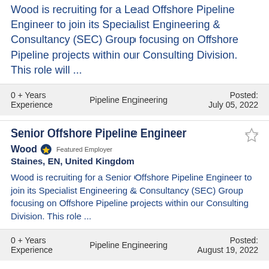Wood is recruiting for a Lead Offshore Pipeline Engineer to join its Specialist Engineering & Consultancy (SEC) Group focusing on Offshore Pipeline projects within our Consulting Division. This role will ...
0 + Years Experience
Pipeline Engineering
Posted: July 05, 2022
Senior Offshore Pipeline Engineer
Wood Featured Employer
Staines, EN, United Kingdom
Wood is recruiting for a Senior Offshore Pipeline Engineer to join its Specialist Engineering & Consultancy (SEC) Group focusing on Offshore Pipeline projects within our Consulting Division. This role ...
0 + Years Experience
Pipeline Engineering
Posted: August 19, 2022